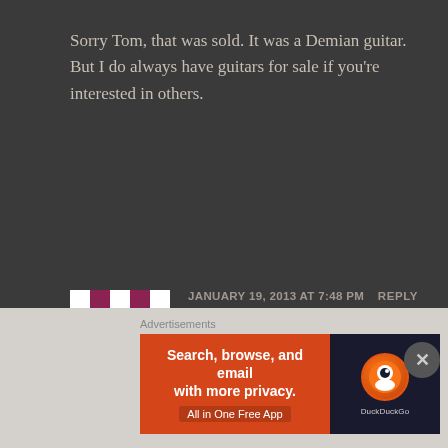Sorry Tom, that was sold. It was a Demian guitar. But I do always have guitars for sale if you're interested in others.
JANUARY 19, 2013 AT 7:48 PM   REPLY
Tom says:
[Figure (illustration): Avatar/gravatar image with pink and white geometric quilt pattern]
I had a Kay hollowbody exactly like the one shown, except mine had two pickups with a chicken head switch. Can't remember if it had separate tone and volume knobs. Got it with S&H Green Stamps around 1966, out of pocket cost was sales tax. Played it thru a
Advertisements
[Figure (screenshot): DuckDuckGo advertisement banner: orange left half reads 'Search, browse, and email with more privacy. All in One Free App', dark right half shows DuckDuckGo logo]